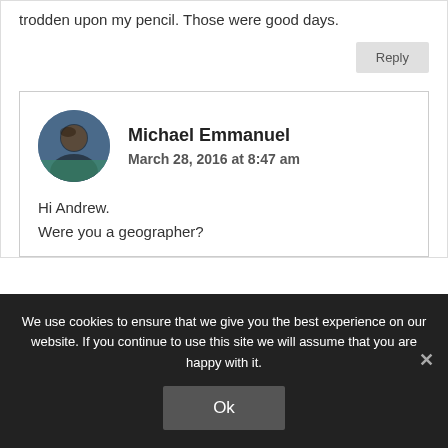trodden upon my pencil. Those were good days.
Reply
Michael Emmanuel
March 28, 2016 at 8:47 am
Hi Andrew.
Were you a geographer?
We use cookies to ensure that we give you the best experience on our website. If you continue to use this site we will assume that you are happy with it.
Ok